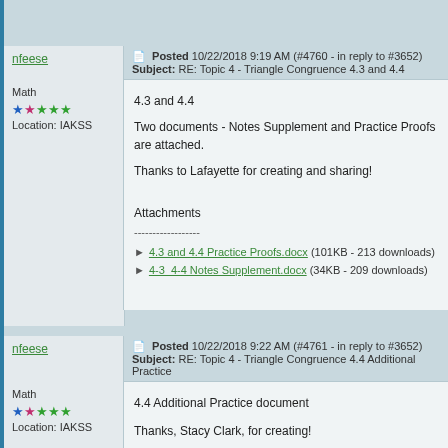nfeese Posted 10/22/2018 9:19 AM (#4760 - in reply to #3652) Subject: RE: Topic 4 - Triangle Congruence 4.3 and 4.4
Math
Location: IAKSS
4.3 and 4.4

Two documents - Notes Supplement and Practice Proofs are attached.

Thanks to Lafayette for creating and sharing!

Attachments
------------------
4.3 and 4.4 Practice Proofs.docx (101KB - 213 downloads)
4-3_4-4 Notes Supplement.docx (34KB - 209 downloads)
nfeese Posted 10/22/2018 9:22 AM (#4761 - in reply to #3652) Subject: RE: Topic 4 - Triangle Congruence 4.4 Additional Practice
Math
Location: IAKSS
4.4 Additional Practice document

Thanks, Stacy Clark, for creating!